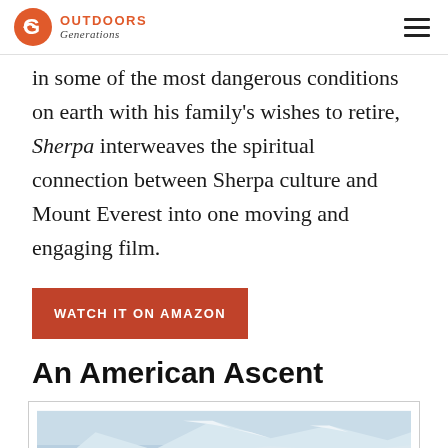Outdoors Generations
in some of the most dangerous conditions on earth with his family's wishes to retire, Sherpa interweaves the spiritual connection between Sherpa culture and Mount Everest into one moving and engaging film.
WATCH IT ON AMAZON
An American Ascent
[Figure (photo): Snow-covered mountain peaks, aerial view of a snowy mountain range]